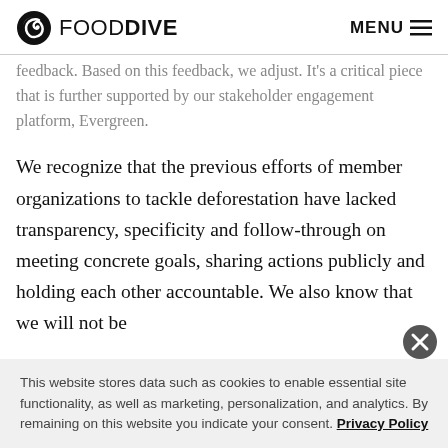FOOD DIVE | MENU
feedback. Based on this feedback, we adjust. It’s a critical piece that is further supported by our stakeholder engagement platform, Evergreen.
We recognize that the previous efforts of member organizations to tackle deforestation have lacked transparency, specificity and follow-through on meeting concrete goals, sharing actions publicly and holding each other accountable. We also know that we will not be
This website stores data such as cookies to enable essential site functionality, as well as marketing, personalization, and analytics. By remaining on this website you indicate your consent. Privacy Policy